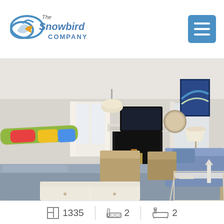[Figure (logo): The Snowbird Company logo with stylized bird/cloud icon in blue and gold, company name in blue and orange text]
[Figure (photo): Interior living room of a vacation rental property with gray couches, blue accent chairs, white side tables, fireplace with TV above it, pendant lights, and coastal decor including a colorful surfboard on the wall]
1335  2  2 (square footage, bedrooms, bathrooms)